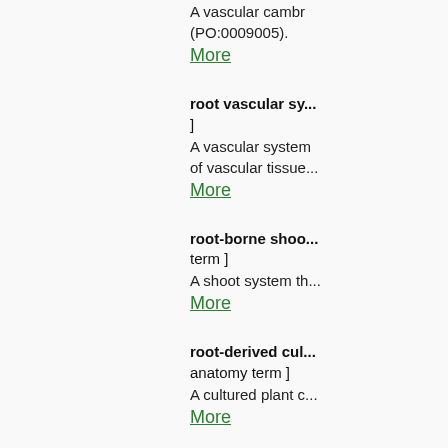A vascular cambr... (PO:0009005).
More
root vascular sy...
]
A vascular system... of vascular tissue...
More
root-borne shoo...
term ]
A shoot system th...
More
root-derived cul...
anatomy term ]
A cultured plant c...
More
rosette [PO:0025...]
A collective leaf s...